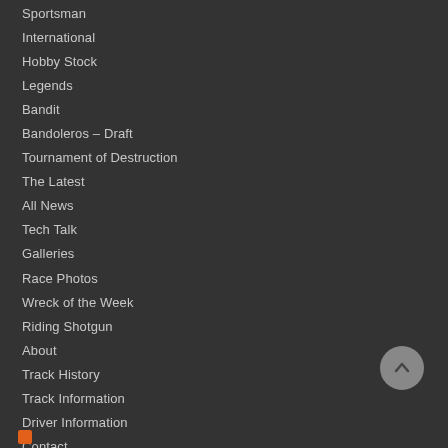Sportsman
International
Hobby Stock
Legends
Bandit
Bandoleros – Draft
Tournament of Destruction
The Latest
All News
Tech Talk
Galleries
Race Photos
Wreck of the Week
Riding Shotgun
About
Track History
Track Information
Driver Information
Contact